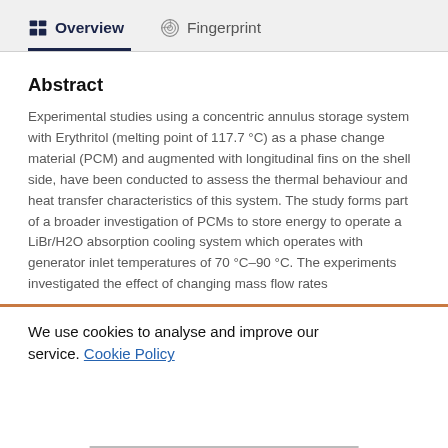Overview   Fingerprint
Abstract
Experimental studies using a concentric annulus storage system with Erythritol (melting point of 117.7 °C) as a phase change material (PCM) and augmented with longitudinal fins on the shell side, have been conducted to assess the thermal behaviour and heat transfer characteristics of this system. The study forms part of a broader investigation of PCMs to store energy to operate a LiBr/H2O absorption cooling system which operates with generator inlet temperatures of 70 °C–90 °C. The experiments investigated the effect of changing mass flow rates
We use cookies to analyse and improve our service. Cookie Policy